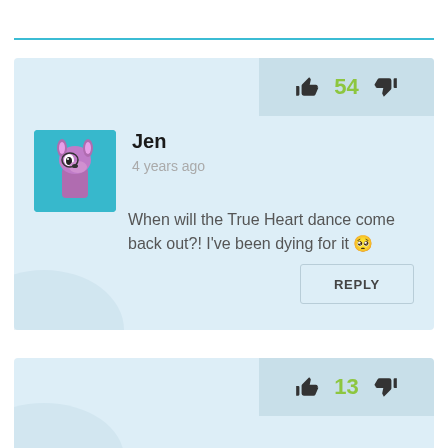54
Jen
4 years ago
When will the True Heart dance come back out?! I've been dying for it 🥺
REPLY
13